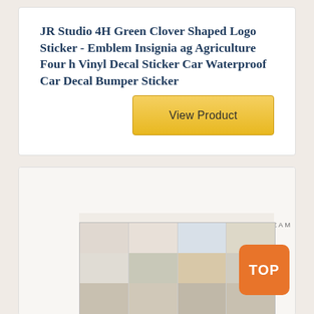JR Studio 4H Green Clover Shaped Logo Sticker - Emblem Insignia ag Agriculture Four h Vinyl Decal Sticker Car Waterproof Car Decal Bumper Sticker
[Figure (other): Yellow 'View Product' button]
[Figure (photo): Photo of a shelving unit with children's items, with text 'CREATE · SHARE · PLAY · IMAGINE · DREAM' as a wall decal above it]